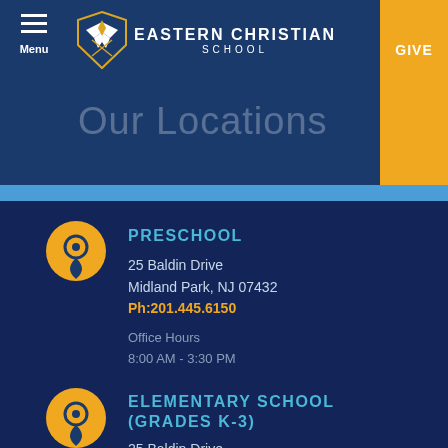Menu | EASTERN CHRISTIAN SCHOOL | Our Locations | GIVE
Our Locations
PRESCHOOL
25 Baldin Drive
Midland Park, NJ 07432
Ph:201.445.6150
Office Hours
8:00 AM - 3:30 PM
ELEMENTARY SCHOOL (GRADES K-3)
25 Baldin Drive